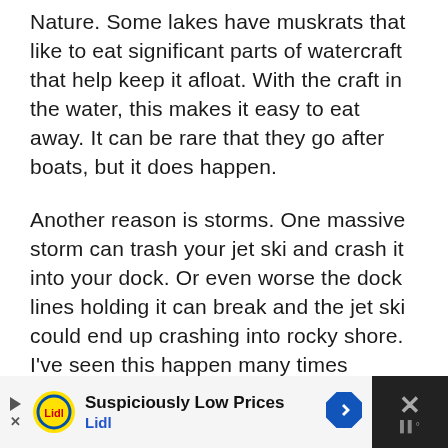Nature. Some lakes have muskrats that like to eat significant parts of watercraft that help keep it afloat. With the craft in the water, this makes it easy to eat away. It can be rare that they go after boats, but it does happen.
Another reason is storms. One massive storm can trash your jet ski and crash it into your dock. Or even worse the dock lines holding it can break and the jet ski could end up crashing into rocky shore. I've seen this happen many times before.
[Figure (other): Lidl advertisement banner with 'Suspiciously Low Prices' headline, Lidl logo, blue navigation arrow icon, and close button with weather icon]